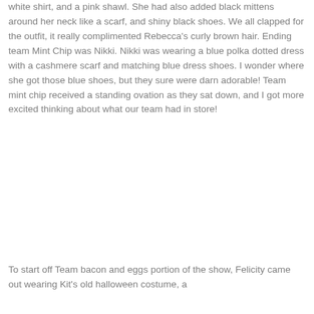white shirt, and a pink shawl. She had also added black mittens around her neck like a scarf, and shiny black shoes. We all clapped for the outfit, it really complimented Rebecca's curly brown hair. Ending team Mint Chip was Nikki. Nikki was wearing a blue polka dotted dress with a cashmere scarf and matching blue dress shoes. I wonder where she got those blue shoes, but they sure were darn adorable! Team mint chip received a standing ovation as they sat down, and I got more excited thinking about what our team had in store!
To start off Team bacon and eggs portion of the show, Felicity came out wearing Kit's old halloween costume, a